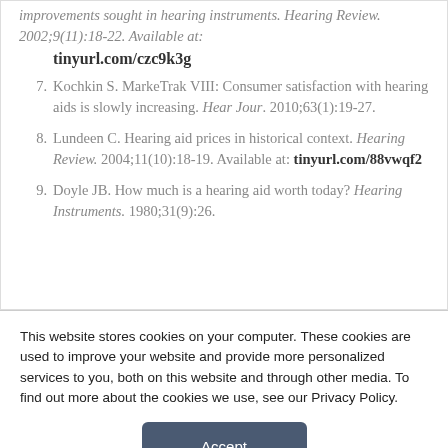improvements sought in hearing instruments. Hearing Review. 2002;9(11):18-22. Available at: tinyurl.com/czc9k3g
7. Kochkin S. MarkeTrak VIII: Consumer satisfaction with hearing aids is slowly increasing. Hear Jour. 2010;63(1):19-27.
8. Lundeen C. Hearing aid prices in historical context. Hearing Review. 2004;11(10):18-19. Available at: tinyurl.com/88vwqf2
9. Doyle JB. How much is a hearing aid worth today? Hearing Instruments. 1980;31(9):26.
This website stores cookies on your computer. These cookies are used to improve your website and provide more personalized services to you, both on this website and through other media. To find out more about the cookies we use, see our Privacy Policy.